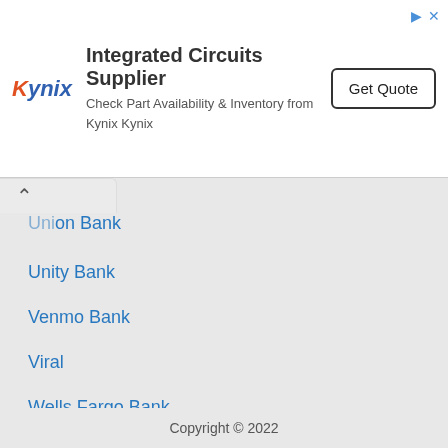[Figure (other): Kynix advertisement banner with logo, text 'Integrated Circuits Supplier', subtitle 'Check Part Availability & Inventory from Kynix Kynix', and a 'Get Quote' button]
Union Bank
Unity Bank
Venmo Bank
Viral
Wells Fargo Bank
Wema Bank
Zelle App
Zenith Bank
Copyright © 2022